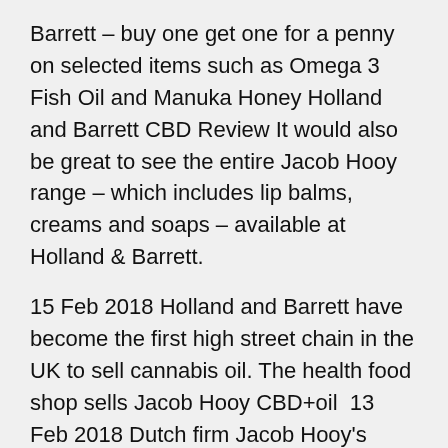Barrett – buy one get one for a penny on selected items such as Omega 3 Fish Oil and Manuka Honey Holland and Barrett CBD Review It would also be great to see the entire Jacob Hooy range – which includes lip balms, creams and soaps – available at Holland & Barrett.
15 Feb 2018 Holland and Barrett have become the first high street chain in the UK to sell cannabis oil. The health food shop sells Jacob Hooy CBD+oil  13 Feb 2018 Dutch firm Jacob Hooy's CBD+Oil has proved so popular – with sales up 37% since it hit Holland & Barrett shelves – that the health food chain  16 Mar 2018 I've heard many of the great things CBD can do. So, after seeing Holland & Barrett were selling Jacob Hooy CBD+ I figured I'd For quite some time, my knees have been aching and I thought I'd try this oil out and see if